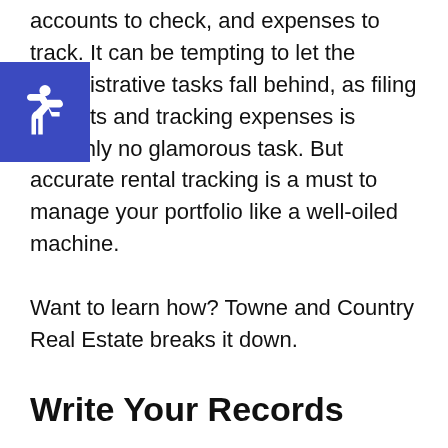accounts to check, and expenses to track. It can be tempting to let the administrative tasks fall behind, as filing receipts and tracking expenses is certainly no glamorous task. But accurate rental tracking is a must to manage your portfolio like a well-oiled machine.

Want to learn how? Towne and Country Real Estate breaks it down.
Write Your Records